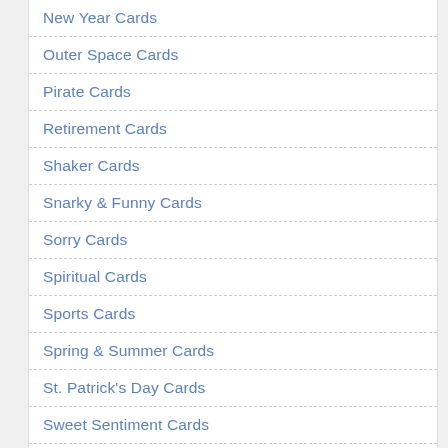New Year Cards
Outer Space Cards
Pirate Cards
Retirement Cards
Shaker Cards
Snarky & Funny Cards
Sorry Cards
Spiritual Cards
Sports Cards
Spring & Summer Cards
St. Patrick's Day Cards
Sweet Sentiment Cards
Sympathy Cards
Thank You Cards
Thanksgiving Cards